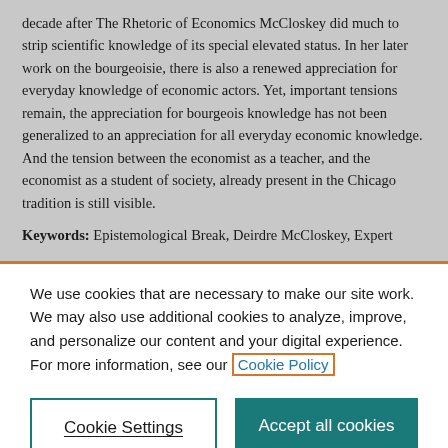decade after The Rhetoric of Economics McCloskey did much to strip scientific knowledge of its special elevated status. In her later work on the bourgeoisie, there is also a renewed appreciation for everyday knowledge of economic actors. Yet, important tensions remain, the appreciation for bourgeois knowledge has not been generalized to an appreciation for all everyday economic knowledge. And the tension between the economist as a teacher, and the economist as a student of society, already present in the Chicago tradition is still visible.
Keywords: Epistemological Break, Deirdre McCloskey, Expert
We use cookies that are necessary to make our site work. We may also use additional cookies to analyze, improve, and personalize our content and your digital experience. For more information, see our Cookie Policy